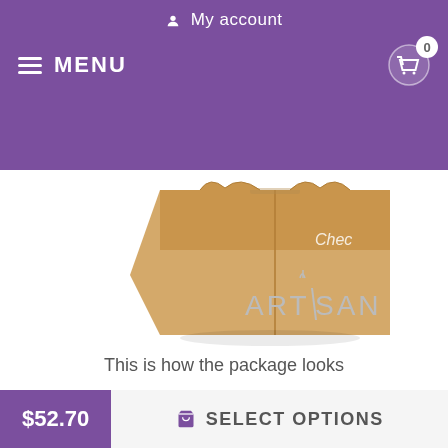My account | MENU | 0
[Figure (photo): Cardboard packaging box for the artisan leather product, partially visible with a 'Check' text overlay. Artisan brand watermark logo visible in lower right area of the image section.]
This is how the package looks
As for the hardware of this studded leather accessory, it is chrome plated. It matches perfectly with the studs. This covering provides extra safety for the details as it prevents corrosion. The set of hardware consists of a traditional elegant buckle and reliable D-ring for leash connection. These fittings are easy to use and reliable in service they provide. Add more zest to you...
$52.70 | SELECT OPTIONS